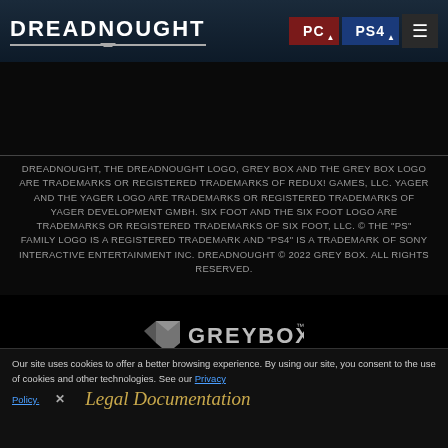DREADNOUGHT
DREADNOUGHT, THE DREADNOUGHT LOGO, GREY BOX AND THE GREY BOX LOGO ARE TRADEMARKS OR REGISTERED TRADEMARKS OF REDUX! GAMES, LLC. YAGER AND THE YAGER LOGO ARE TRADEMARKS OR REGISTERED TRADEMARKS OF YAGER DEVELOPMENT GMBH. SIX FOOT AND THE SIX FOOT LOGO ARE TRADEMARKS OR REGISTERED TRADEMARKS OF SIX FOOT, LLC. © THE "PS" FAMILY LOGO IS A REGISTERED TRADEMARK AND "PS4" IS A TRADEMARK OF SONY INTERACTIVE ENTERTAINMENT INC. DREADNOUGHT © 2022 GREY BOX. ALL RIGHTS RESERVED.
[Figure (logo): Grey Box logo with geometric icon and stylized GREYBOX text with TM mark]
Support
Our site uses cookies to offer a better browsing experience. By using our site, you consent to the use of cookies and other technologies. See our Privacy Policy.
Legal Documentation